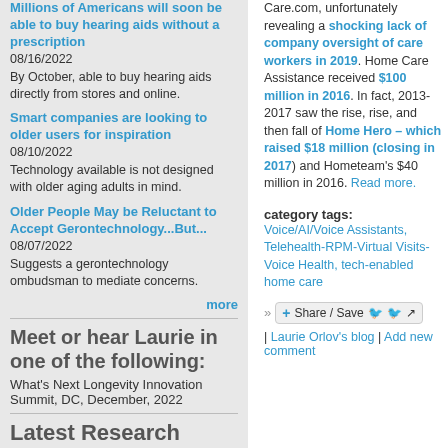Millions of Americans will soon be able to buy hearing aids without a prescription
08/16/2022
By October, able to buy hearing aids directly from stores and online.
Smart companies are looking to older users for inspiration
08/10/2022
Technology available is not designed with older aging adults in mind.
Older People May be Reluctant to Accept Gerontechnology...But...
08/07/2022
Suggests a gerontechnology ombudsman to mediate concerns.
more
Meet or hear Laurie in one of the following:
What's Next Longevity Innovation Summit, DC, December, 2022
Latest Research
Care.com, unfortunately revealing a shocking lack of company oversight of care workers in 2019. Home Care Assistance received $100 million in 2016. In fact, 2013-2017 saw the rise, rise, and then fall of Home Hero – which raised $18 million (closing in 2017) and Hometeam's $40 million in 2016. Read more.
category tags: Voice/AI/Voice Assistants, Telehealth-RPM-Virtual Visits-Voice Health, tech-enabled home care
Share / Save
Laurie Orlov's blog | Add new comment